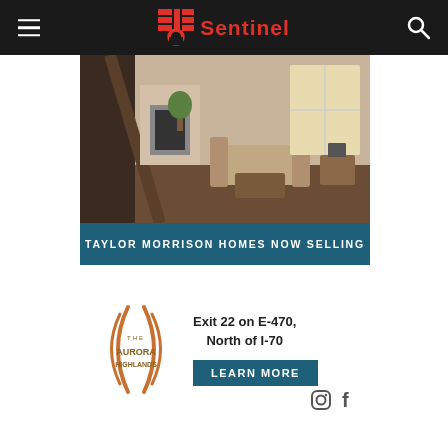Sentinel
[Figure (photo): Interior home photo showing living and dining area with staircase railing in foreground]
TAYLOR MORRISON HOMES NOW SELLING
[Figure (logo): The Aurora Highlands logo with stylized bracket design]
Exit 22 on E-470, North of I-70
LEARN MORE